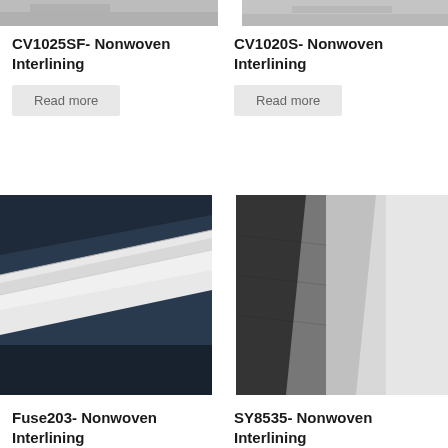[Figure (photo): Close-up photograph of nonwoven interlining fabric, gray tones, cropped at top]
[Figure (photo): Close-up photograph of nonwoven interlining fabric, gray tones, cropped at top]
CV1025SF- Nonwoven Interlining
CV1020S- Nonwoven Interlining
Read more
Read more
[Figure (photo): Close-up photograph of white nonwoven interlining fabric layers on dark navy background]
[Figure (photo): Close-up photograph of dark charcoal and white nonwoven interlining fabric]
Fuse203- Nonwoven Interlining
SY8535- Nonwoven Interlining